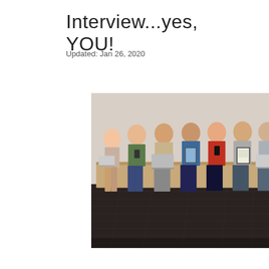Interview...yes, YOU!
Updated: Jan 26, 2020
[Figure (photo): Group of young people sitting on a bench using laptops, tablets, and smartphones, with a dark wood floor in the foreground.]